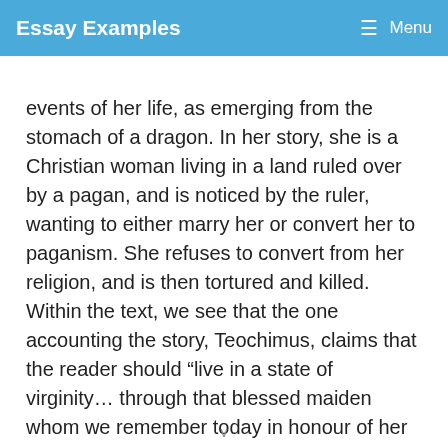Essay Examples   Menu
events of her life, as emerging from the stomach of a dragon. In her story, she is a Christian woman living in a land ruled over by a pagan, and is noticed by the ruler, wanting to either marry her or convert her to paganism. She refuses to convert from her religion, and is then tortured and killed. Within the text, we see that the one accounting the story, Teochimus, claims that the reader should “live in a state of virginity… through that blessed maiden whom we remember today in honour of her virginity”. (Mack, p. )
v